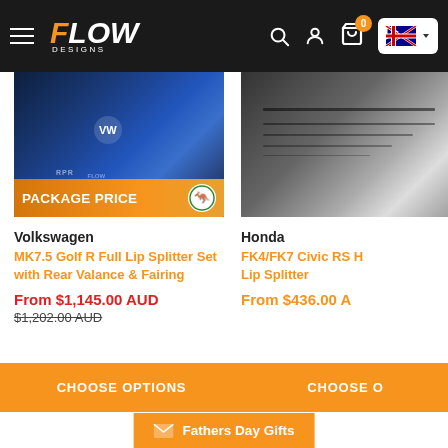Flow Designs - navigation header with hamburger menu, logo, search, account, cart (0 items), Australia flag
[Figure (photo): Blue Volkswagen Golf R with 'PACKAGE PRICE' banner and Australian Made logo]
[Figure (photo): Partial view of a car splitter product on dark background]
Volkswagen
MK7.5 Golf R Full Lip Splitter Set with Rear Valance & Fairing
From $1,145.00 AUD
$1,202.00 AUD
Honda
FK4/FK7 Civic RS H Lip Splitter
From $436.00 A
CHOOSE OPTIONS
CHOOSE O
Fathers Day Gifts